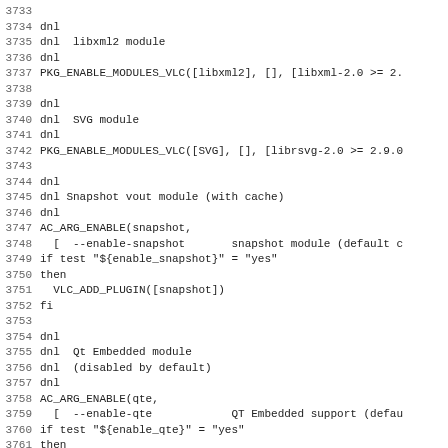Source code listing lines 3733-3765, shell/autoconf script for VLC media player build configuration including libxml2 module, SVG module, Snapshot vout module, and Qt Embedded module sections.